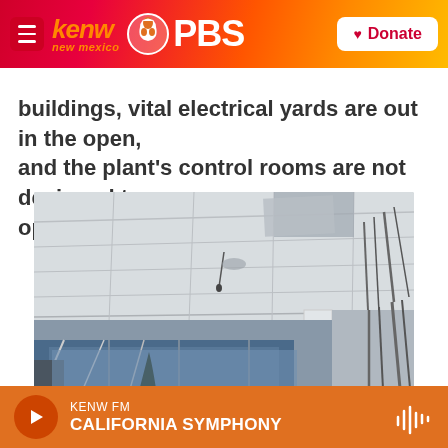kenw new mexico PBS — Donate
buildings, vital electrical yards are out in the open, and the plant's control rooms are not designed to operate in a war zone.
[Figure (photo): Interior photo showing a damaged ceiling with displaced ceiling tiles, hanging wires, and damaged infrastructure in what appears to be a control room or office space at a nuclear plant.]
KENW FM — CALIFORNIA SYMPHONY